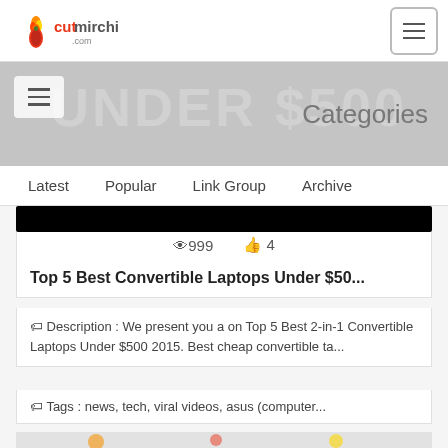cutmirchi logo and navigation
[Figure (screenshot): Banner area with hamburger menu, faded 'UNDER $500' text, and Categories label]
Latest   Popular   Link Group   Archive
👁999  👍 4
Top 5 Best Convertible Laptops Under $50...
Description : We present you a on Top 5 Best 2-in-1 Convertible Laptops Under $500 2015. Best cheap convertible ta...
Tags : news, tech, viral videos, asus (computer...
[Figure (photo): Colorful paper craft butterflies and flower shapes on light background]